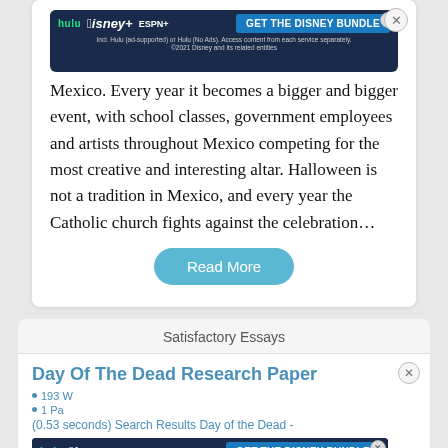[Figure (screenshot): Disney Bundle advertisement banner with Hulu, Disney+, ESPN+ logos and GET THE DISNEY BUNDLE button]
Mexico. Every year it becomes a bigger and bigger event, with school classes, government employees and artists throughout Mexico competing for the most creative and interesting altar. Halloween is not a tradition in Mexico, and every year the Catholic church fights against the celebration…
Read More
Satisfactory Essays
Day Of The Dead Research Paper
193 W
1 Pa
(0.53 seconds) Search Results Day of the Dead -
[Figure (screenshot): Disney Bundle advertisement banner with Hulu, Disney+, ESPN+ logos and GET THE DISNEY BUNDLE button]